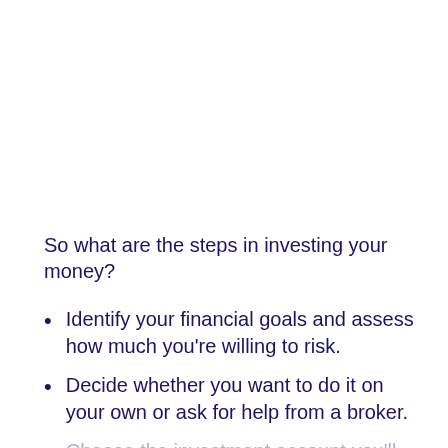So what are the steps in investing your money?
Identify your financial goals and assess how much you're willing to risk.
Decide whether you want to do it on your own or ask for help from a broker.
Choose the investment account you'll use.
Open your preferred account.